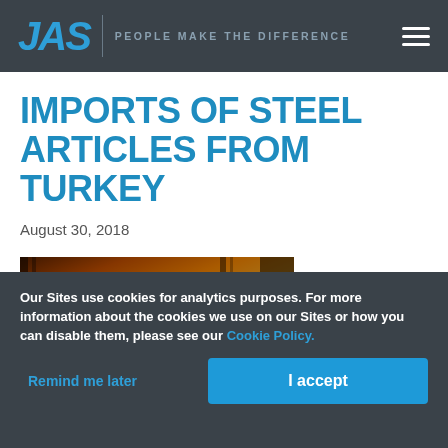JAS | PEOPLE MAKE THE DIFFERENCE
IMPORTS OF STEEL ARTICLES FROM TURKEY
August 30, 2018
[Figure (photo): Steel manufacturing facility with molten steel, orange glow, industrial equipment]
Our Sites use cookies for analytics purposes. For more information about the cookies we use on our Sites or how you can disable them, please see our Cookie Policy.
Remind me later
I accept